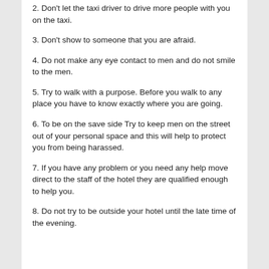2. Don't let the taxi driver to drive more people with you on the taxi.
3. Don't show to someone that you are afraid.
4. Do not make any eye contact to men and do not smile to the men.
5. Try to walk with a purpose. Before you walk to any place you have to know exactly where you are going.
6. To be on the save side Try to keep men on the street out of your personal space and this will help to protect you from being harassed.
7. If you have any problem or you need any help move direct to the staff of the hotel they are qualified enough to help you.
8. Do not try to be outside your hotel until the late time of the evening.